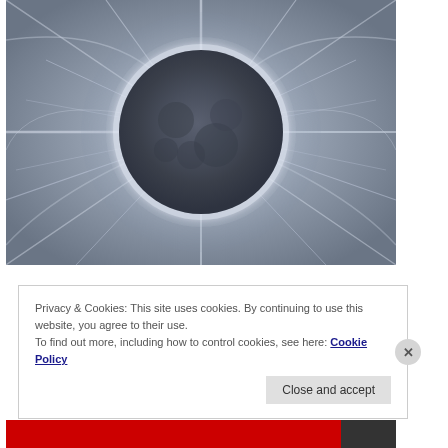[Figure (photo): Solar eclipse photograph showing the moon blocking the sun with the solar corona radiating outward in sweeping white rays against a grey sky background.]
Privacy & Cookies: This site uses cookies. By continuing to use this website, you agree to their use.
To find out more, including how to control cookies, see here: Cookie Policy
Close and accept